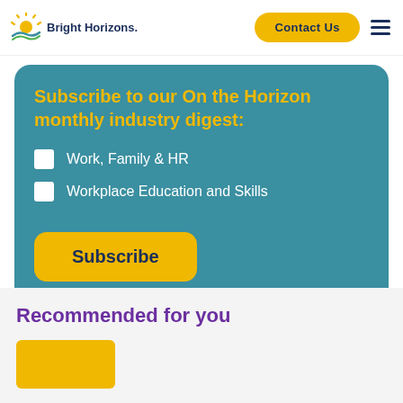Bright Horizons | Contact Us
Subscribe to our On the Horizon monthly industry digest:
Work, Family & HR
Workplace Education and Skills
Subscribe
Recommended for you